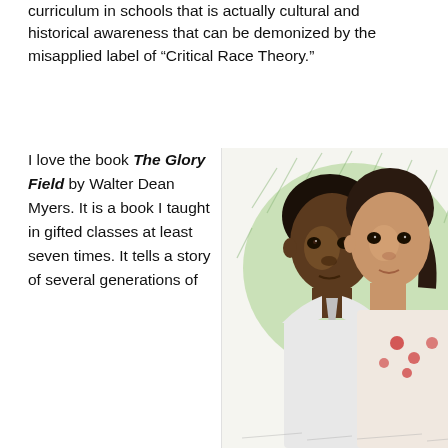curriculum in schools that is actually cultural and historical awareness that can be demonized by the misapplied label of “Critical Race Theory.”
I love the book The Glory Field by Walter Dean Myers. It is a book I taught in gifted classes at least seven times. It tells a story of several generations of
[Figure (illustration): A pencil/color-pencil illustration of two children — a boy in a white dress shirt and tie, and a girl in a red-flower patterned top — against a green background. Both children are Black, with serious, contemplative expressions.]